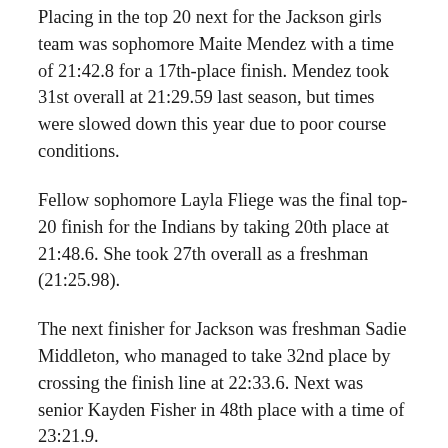Placing in the top 20 next for the Jackson girls team was sophomore Maite Mendez with a time of 21:42.8 for a 17th-place finish. Mendez took 31st overall at 21:29.59 last season, but times were slowed down this year due to poor course conditions.
Fellow sophomore Layla Fliege was the final top-20 finish for the Indians by taking 20th place at 21:48.6. She took 27th overall as a freshman (21:25.98).
The next finisher for Jackson was freshman Sadie Middleton, who managed to take 32nd place by crossing the finish line at 22:33.6. Next was senior Kayden Fisher in 48th place with a time of 23:21.9.
The final Indian to cross the finish line for the girls team was junior Elizabeth Steele, who took 58th place with a time of 24:10.3.